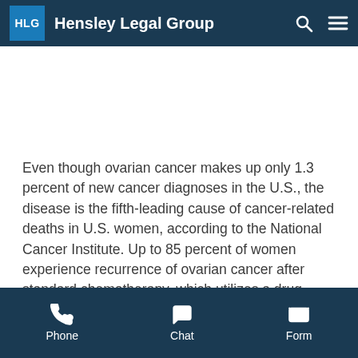Hensley Legal Group
Even though ovarian cancer makes up only 1.3 percent of new cancer diagnoses in the U.S., the disease is the fifth-leading cause of cancer-related deaths in U.S. women, according to the National Cancer Institute. Up to 85 percent of women experience recurrence of ovarian cancer after standard chemotherapy, which utilizes a drug called carboplatin.
Researchers have recently discovered a promising
Phone  Chat  Form